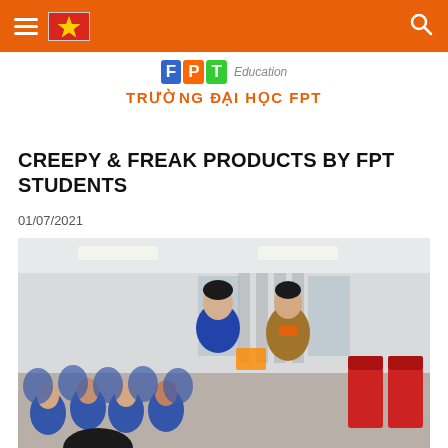Navigation bar with hamburger menu, Vietnamese flag, and search icon
[Figure (logo): FPT Education logo with colored letter blocks F, P, T and text 'Education', below it the text TRƯỜNG ĐẠI HỌC FPT in orange]
CREEPY & FREAK PRODUCTS BY FPT STUDENTS
01/07/2021
[Figure (photo): A classroom scene at FPT University. Two women standing in front of an audience of students in blue uniforms seated in rows. One woman wears a brown blazer and orange top, the other wears blue. They appear to be exchanging or presenting something. Red seats visible on the right side.]